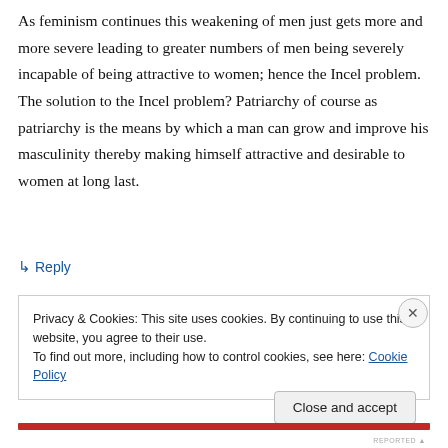As feminism continues this weakening of men just gets more and more severe leading to greater numbers of men being severely incapable of being attractive to women; hence the Incel problem. The solution to the Incel problem? Patriarchy of course as patriarchy is the means by which a man can grow and improve his masculinity thereby making himself attractive and desirable to women at long last.
↳ Reply
Privacy & Cookies: This site uses cookies. By continuing to use this website, you agree to their use.
To find out more, including how to control cookies, see here: Cookie Policy
Close and accept